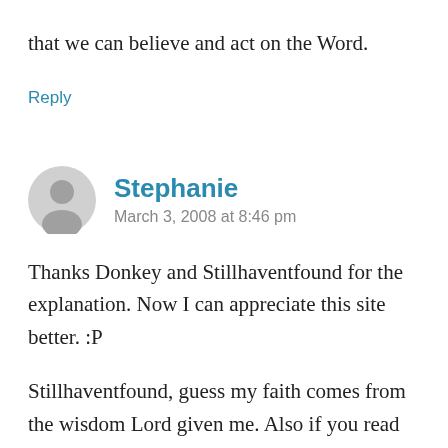that we can believe and act on the Word.
Reply
[Figure (illustration): Generic user avatar icon — grey silhouette of a person in a circle]
Stephanie
March 3, 2008 at 8:46 pm
Thanks Donkey and Stillhaventfound for the explanation. Now I can appreciate this site better. :P
Stillhaventfound, guess my faith comes from the wisdom Lord given me. Also if you read from my initial post, I came to Christ because of a big devil